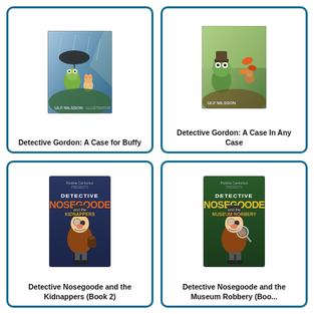[Figure (illustration): Book cover: Detective Gordon: A Case for Buffy - illustrated children's book with frog detective and mouse in rain scene]
Detective Gordon: A Case for Buffy
[Figure (illustration): Book cover: Detective Gordon: A Case In Any Case - illustrated children's book with frog detective and autumn scene]
Detective Gordon: A Case In Any Case
[Figure (illustration): Book cover: Detective Nosegoode and the Kidnappers (Book 2) - navy blue cover with cartoon detective character]
Detective Nosegoode and the Kidnappers (Book 2)
[Figure (illustration): Book cover: Detective Nosegoode and the Museum Robbery - green cover with cartoon detective character]
Detective Nosegoode and the Museum Robbery (Boo...